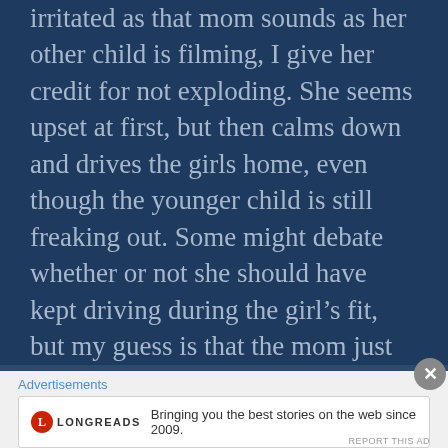this not as a mother myself. As irritated as that mom sounds as her other child is filming, I give her credit for not exploding. She seems upset at first, but then calms down and drives the girls home, even though the younger child is still freaking out. Some might debate whether or not she should have kept driving during the girl’s fit, but my guess is that the mom just wanted to be in her home, rather than a hot car. I also wonder if she knows all of this is on the Internet for the world to see.
Advertisements
[Figure (screenshot): Longreads advertisement: logo with red circle containing L, LONGREADS text, tagline 'Bringing you the best stories on the web since 2009.']